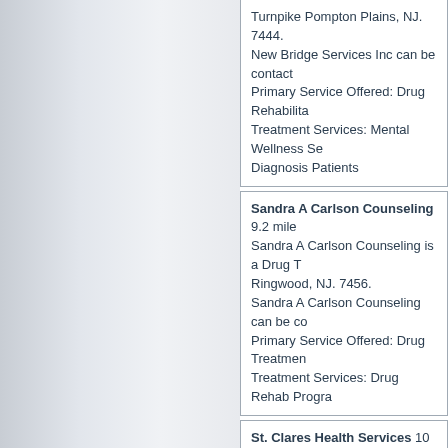Turnpike Pompton Plains, NJ. 7444. New Bridge Services Inc can be contacted. Primary Service Offered: Drug Rehabilitation. Treatment Services: Mental Wellness Services, Dual Diagnosis Patients
Sandra A Carlson Counseling 9.2 miles. Sandra A Carlson Counseling is a Drug Treatment located in Ringwood, NJ. 7456. Sandra A Carlson Counseling can be contacted. Primary Service Offered: Drug Treatment. Treatment Services: Drug Rehab Programs
St. Clares Health Services 10 miles from. St. Clares Health Services is a Drug Rehabilitation located in Boonton, NJ. 7005. St. Clares Health Services can be contacted. Primary Service Offered: Drug Rehab Programs. Treatment Services: Drug Rehab Programs, Hospital Services, Dual Diagnosis Patients
St. Clares Hosp Boonton Township 10 miles. St. Clares Hosp Boonton Township is a Rehabilitation located in Boonton, NJ. 7005. St. Clares Hosp Boonton Township can be contacted. Primary Service Offered: Drug Rehab. Treatment Services: Mental Wellness Services, Dual Diagnosis Patients, Drug Speaking